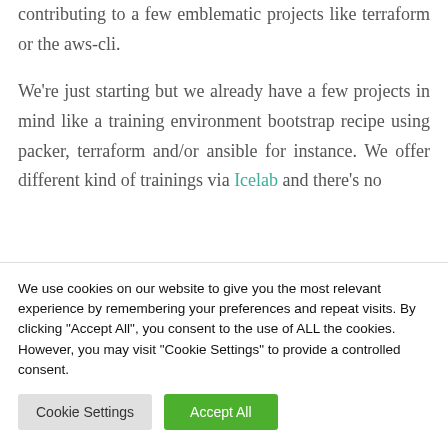contributing to a few emblematic projects like terraform or the aws-cli.
We're just starting but we already have a few projects in mind like a training environment bootstrap recipe using packer, terraform and/or ansible for instance. We offer different kind of trainings via Icelab and there's no ...
We use cookies on our website to give you the most relevant experience by remembering your preferences and repeat visits. By clicking "Accept All", you consent to the use of ALL the cookies. However, you may visit "Cookie Settings" to provide a controlled consent.